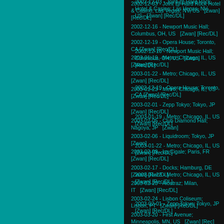2002-12-03 - Joint @ Hard Rock Hotel & Casino; Las Vegas, NV, US    [Zwan] [Rec/DL]
2002-12-16 - Newport Music Hall; Columbus, OH, US    [Zwan] [Rec/DL]
2002-12-19 - Opera House; Toronto, CA    [Zwan] [Rec/DL]
2003-01-19 - Metro; Chicago, IL, US    [Zwan] [Rec/DL]
2003-01-22 - Metro; Chicago, IL, US    [Zwan] [Rec/DL]
2003-01-23 - Metro; Chicago, IL, US    [Zwan] [Rec/DL]
2003-02-01 - Zepp Tokyo; Tokyo, JP    [Zwan] [Rec/DL]
2003-02-05 - Club Diamond Hall; Nagoya, JP    [Zwan]
2003-02-06 - Liquidroom; Tokyo, JP    [Zwan]
2003-02-09 - La Cigale; Paris, FR    [Zwan] [Rec/DL]
2003-02-17 - Docks; Hamburg, DE    [Zwan] [Rec/DL]
2003-02-20 - Alcatraz; Milan, IT    [Zwan] [Rec/DL]
2003-02-24 - Lisbon Coliseum; Lisbon, PT    [Zwan] [Rec/DL]
2003-03-20 - First Avenue; Minneapolis, MN, US    [Zwan] [Rec]
2003-03-21 - Eagles Club Ballroom; Milwaukee, WI, US    [Zwan] [Rec/DL]